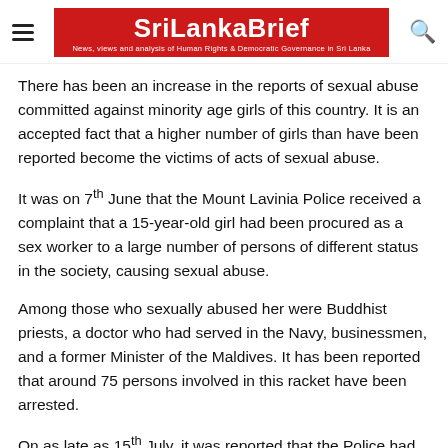SriLankaBrief — News, views and analysis of Human Rights & Democratic Governance in Sri Lanka
There has been an increase in the reports of sexual abuse committed against minority age girls of this country. It is an accepted fact that a higher number of girls than have been reported become the victims of acts of sexual abuse.
It was on 7th June that the Mount Lavinia Police received a complaint that a 15-year-old girl had been procured as a sex worker to a large number of persons of different status in the society, causing sexual abuse.
Among those who sexually abused her were Buddhist priests, a doctor who had served in the Navy, businessmen, and a former Minister of the Maldives. It has been reported that around 75 persons involved in this racket have been arrested.
On as late as 15th July, it was reported that the Police had arrested 5 including the father of a 13-year-old girl from Nawslanitive, charging them with sexually abusing her.